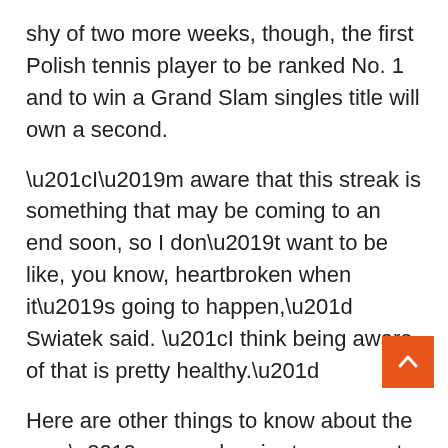shy of two more weeks, though, the first Polish tennis player to be ranked No. 1 and to win a Grand Slam singles title will own a second.
“I’m aware that this streak is something that may be coming to an end soon, so I don’t want to be like, you know, heartbroken when it’s going to happen,” Swiatek said. “I think being aware of that is pretty healthy.”
Here are other things to know about the year’s second major tournament:
Last year’s champion, Barbora Krejcikova of the Czech Republic, wasn’t sure whether she would be able to try to defend her title because of an injured right elbow that has sidelined her since February.
“I don’t really expect much,” said Krejcikova, who is No.